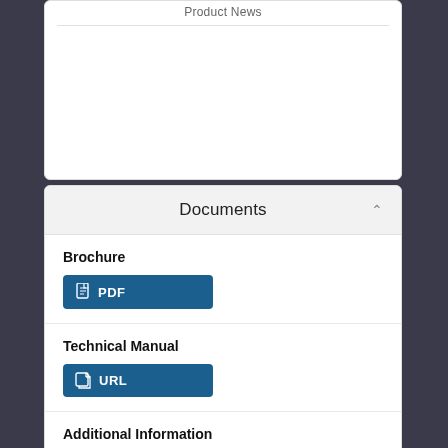Product News
Documents
Brochure
PDF
Technical Manual
URL
Additional Information
URL